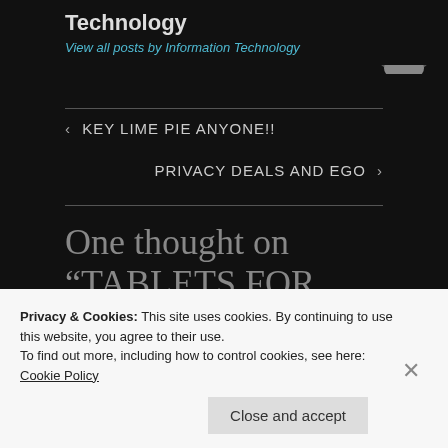Technology
View all posts by Information Technology
‹  KEY LIME PIE ANYONE!!
PRIVACY DEALS AND EGO  ›
One thought on “TABLETS FOR TEENS”
Privacy & Cookies: This site uses cookies. By continuing to use this website, you agree to their use.
To find out more, including how to control cookies, see here: Cookie Policy
Close and accept